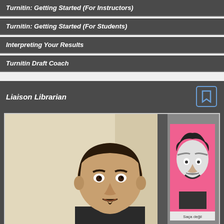Turnitin: Getting Started (For Instructors)
Turnitin: Getting Started (For Students)
Interpreting Your Results
Turnitin Draft Coach
Liaison Librarian
[Figure (photo): Photo of a man with short dark hair and a mustache/goatee, wearing a dark top. Behind him on the right is a pink poster featuring a laughing Albert Einstein portrait with text 'Saça değil' visible at the bottom. The background is a beige/cream office wall.]